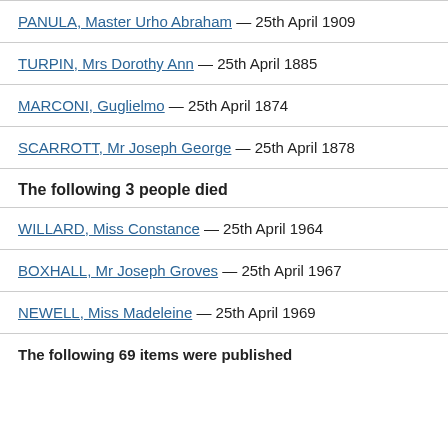PANULA, Master Urho Abraham — 25th April 1909
TURPIN, Mrs Dorothy Ann — 25th April 1885
MARCONI, Guglielmo — 25th April 1874
SCARROTT, Mr Joseph George — 25th April 1878
The following 3 people died
WILLARD, Miss Constance — 25th April 1964
BOXHALL, Mr Joseph Groves — 25th April 1967
NEWELL, Miss Madeleine — 25th April 1969
The following 69 items were published